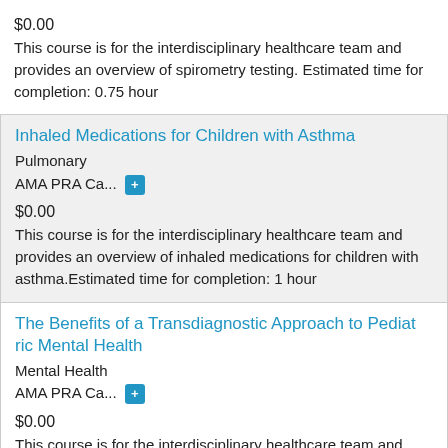$0.00
This course is for the interdisciplinary healthcare team and provides an overview of spirometry testing. Estimated time for completion: 0.75 hour
Inhaled Medications for Children with Asthma
Pulmonary
AMA PRA Ca... +
$0.00
This course is for the interdisciplinary healthcare team and provides an overview of inhaled medications for children with asthma.Estimated time for completion: 1 hour
The Benefits of a Transdiagnostic Approach to Pediatric Mental Health
Mental Health
AMA PRA Ca... +
$0.00
This course is for the interdisciplinary healthcare team and provides an overview of the transdiagnostic approach to assessment and treatment of pediatric